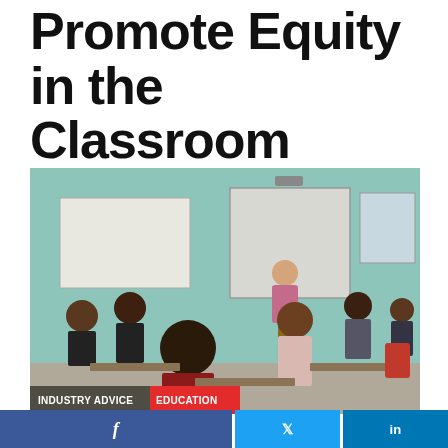Promote Equity in the Classroom
By Ashley DiFranza | June 24, 2019
[Figure (photo): A diverse group of middle school students seated at desks in a classroom, facing a male teacher standing in front of a whiteboard at the front of the room. The classroom walls are decorated with posters and student work.]
INDUSTRY ADVICE  EDUCATION
[Figure (infographic): Social media sharing bar with Facebook, Twitter, and LinkedIn buttons at the bottom of the article page.]